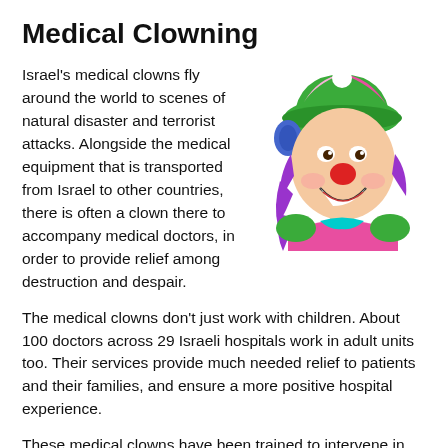Medical Clowning
[Figure (illustration): Colorful cartoon illustration of a happy medical clown with purple hair, colorful patchwork hat in green and pink, red nose, wearing a bright pink and green costume, smiling and laughing]
Israel's medical clowns fly around the world to scenes of natural disaster and terrorist attacks. Alongside the medical equipment that is transported from Israel to other countries, there is often a clown there to accompany medical doctors, in order to provide relief among destruction and despair.
The medical clowns don't just work with children. About 100 doctors across 29 Israeli hospitals work in adult units too. Their services provide much needed relief to patients and their families, and ensure a more positive hospital experience.
These medical clowns have been trained to intervene in disaster zones. For example,  the earthquake in Nepal, the